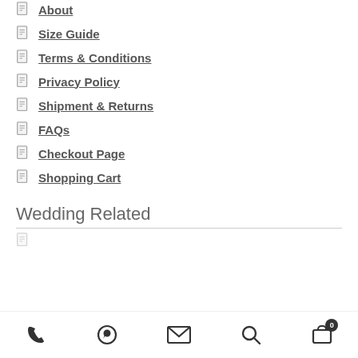About
Size Guide
Terms & Conditions
Privacy Policy
Shipment & Returns
FAQs
Checkout Page
Shopping Cart
Wedding Related
phone | whatsapp | email | search | cart (0)